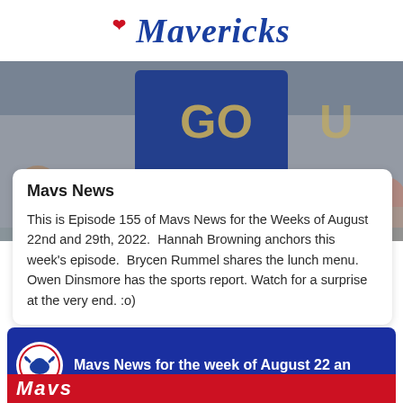[Figure (logo): Mavericks script logo in blue italic text with red swoosh accent above]
[Figure (photo): Crowd photo at a sporting event, fans in bleachers, someone holding a blue jersey/flag with 'GO' visible]
Mavs News
This is Episode 155 of Mavs News for the Weeks of August 22nd and 29th, 2022.  Hannah Browning anchors this week's episode.  Brycen Rummel shares the lunch menu.  Owen Dinsmore has the sports report. Watch for a surprise at the very end. :o)
[Figure (screenshot): Video thumbnail showing Mavericks logo circle on blue background with text 'Mavs News for the week of August 22 an...' and red 'Mavs' text at bottom]